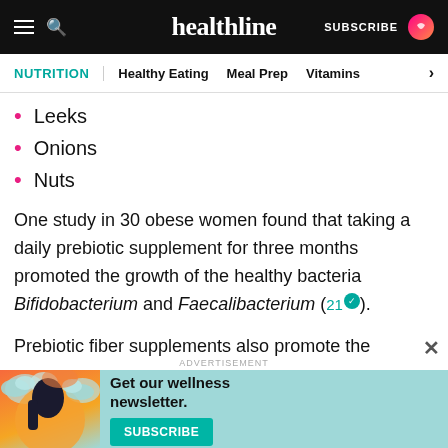healthline — SUBSCRIBE
NUTRITION | Healthy Eating  Meal Prep  Vitamins >
Leeks
Onions
Nuts
One study in 30 obese women found that taking a daily prebiotic supplement for three months promoted the growth of the healthy bacteria Bifidobacterium and Faecalibacterium (21).
Prebiotic fiber supplements also promote the production of short-chain fatty acids (22).
[Figure (infographic): Advertisement banner: Get our wellness newsletter. SUBSCRIBE button. Teal background with illustrated woman and cloud shapes.]